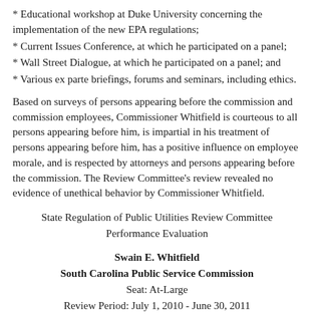* Educational workshop at Duke University concerning the implementation of the new EPA regulations;
* Current Issues Conference, at which he participated on a panel;
* Wall Street Dialogue, at which he participated on a panel; and
* Various ex parte briefings, forums and seminars, including ethics.
Based on surveys of persons appearing before the commission and commission employees, Commissioner Whitfield is courteous to all persons appearing before him, is impartial in his treatment of persons appearing before him, has a positive influence on employee morale, and is respected by attorneys and persons appearing before the commission. The Review Committee's review revealed no evidence of unethical behavior by Commissioner Whitfield.
State Regulation of Public Utilities Review Committee
Performance Evaluation
Swain E. Whitfield
South Carolina Public Service Commission
Seat: At-Large
Review Period: July 1, 2010 - June 30, 2011
Commissioner Whitfield was elected to the commission for a term beginning July 1, 2008. During his tenure, he has taken advantage of numerous training opportunities, including attending: